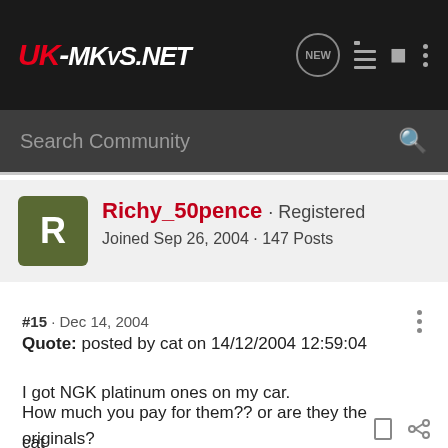[Figure (logo): UK-MKVS.NET forum logo in red and white italic text on dark background]
Search Community
Richy_50pence · Registered
Joined Sep 26, 2004 · 147 Posts
#15 · Dec 14, 2004
Quote: posted by cat on 14/12/2004 12:59:04

I got NGK platinum ones on my car.

cat
How much you pay for them?? or are they the originals?